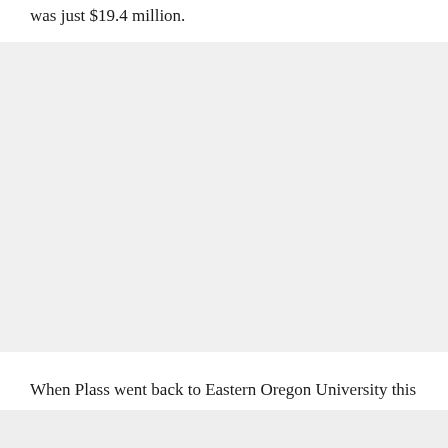was just $19.4 million.
[Figure (photo): Large image placeholder block with light gray background, occupying the central portion of the page.]
When Plass went back to Eastern Oregon University this